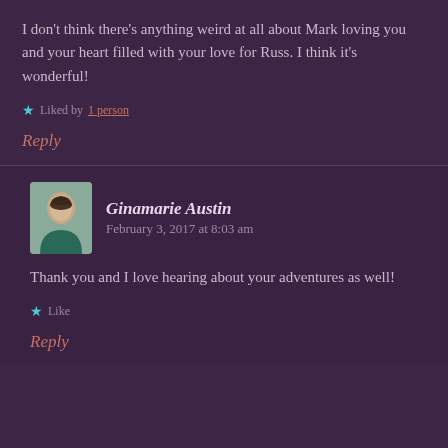I don't think there's anything weird at all about Mark loving you and your heart filled with your love for Russ. I think it's wonderful!
Liked by 1 person
Reply
Ginamarie Austin  February 3, 2017 at 8:03 am
Thank you and I love hearing about your adventures as well!
Like
Reply